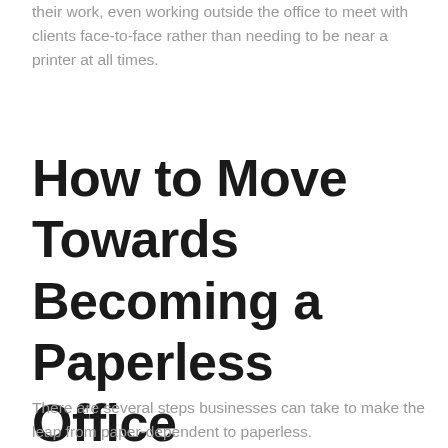their work, even working outside the office to meet with clients face-to-face rather than needing to be near a printer at all times.
How to Move Towards Becoming a Paperless Office
There are several steps businesses can take to make the leap from paper-dependent to paperless.